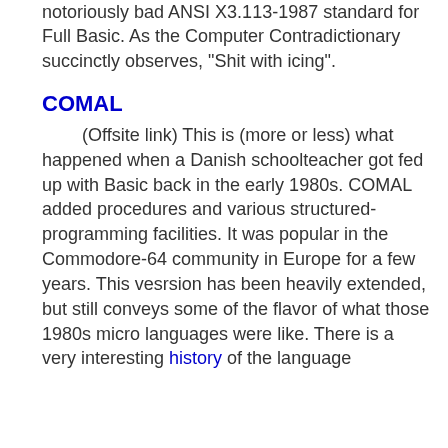notoriously bad ANSI X3.113-1987 standard for Full Basic. As the Computer Contradictionary succinctly observes, "Shit with icing".
COMAL
(Offsite link) This is (more or less) what happened when a Danish schoolteacher got fed up with Basic back in the early 1980s. COMAL added procedures and various structured-programming facilities. It was popular in the Commodore-64 community in Europe for a few years. This vesrsion has been heavily extended, but still conveys some of the flavor of what those 1980s micro languages were like. There is a very interesting history of the language